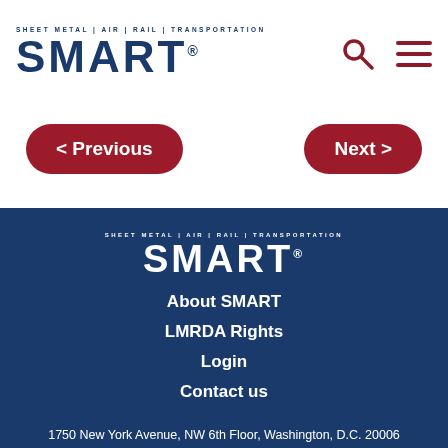SHEET METAL | AIR | RAIL | TRANSPORTATION SMART
< Previous
Next >
[Figure (logo): SMART union logo (white on dark blue) with tagline SHEET METAL | AIR | RAIL | TRANSPORTATION]
About SMART
LMRDA Rights
Login
Contact us
1750 New York Avenue, NW 6th Floor, Washington, D.C. 20006